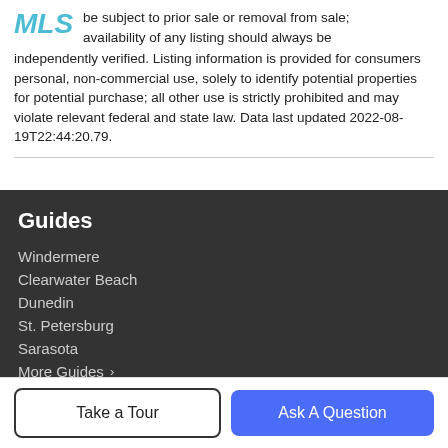be subject to prior sale or removal from sale; availability of any listing should always be independently verified. Listing information is provided for consumers personal, non-commercial use, solely to identify potential properties for potential purchase; all other use is strictly prohibited and may violate relevant federal and state law. Data last updated 2022-08-19T22:44:20.79.
Guides
Windermere
Clearwater Beach
Dunedin
St. Petersburg
Sarasota
More Guides >
Take a Tour | Ask A Question